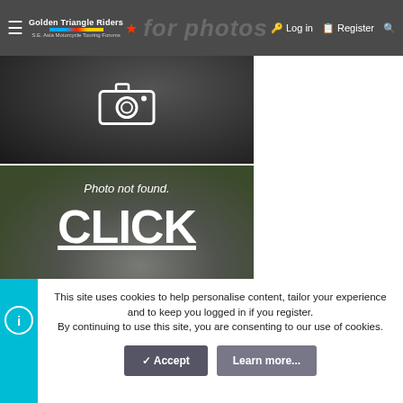Golden Triangle Riders — S.E. Asia Motorcycle Touring Forums | for Photos | Log in | Register | Search
[Figure (screenshot): Blurred tabby cat background with white camera icon overlay — placeholder image]
[Figure (screenshot): Blurred kitten background with text 'Photo not found.' and large white text 'CLICK for Photos']
This site uses cookies to help personalise content, tailor your experience and to keep you logged in if you register. By continuing to use this site, you are consenting to our use of cookies.
Accept | Learn more...